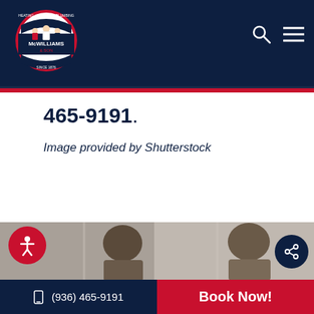[Figure (logo): McWilliams & Son company logo: circular badge with red border, figures of workers, text 'McWilliams & Son Since 1876', heating cooling plumbing]
465-9191.
Image provided by Shutterstock
[Figure (photo): Photo showing two people from behind, appearing to be children or workers in an interior setting]
(936) 465-9191
Book Now!